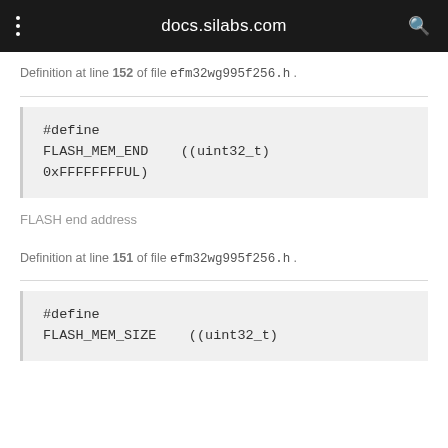docs.silabs.com
Definition at line 152 of file efm32wg995f256.h .
#define FLASH_MEM_END    ((uint32_t) 0xFFFFFFFFUL)
FLASH end address
Definition at line 151 of file efm32wg995f256.h .
#define FLASH_MEM_SIZE    ((uint32_t)